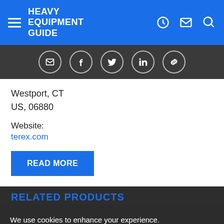Heavy Equipment Guide
[Figure (screenshot): Social sharing icons bar with email, Facebook, Twitter, LinkedIn, and link icons in circles on dark background]
Westport, CT
US, 06880
Website:
terex.com
READ MORE
RELATED PRODUCTS
We use cookies to enhance your experience. By continuing to visit this site you agree to our use of cookies.
More info
MOBILE CRANES
GOT IT!